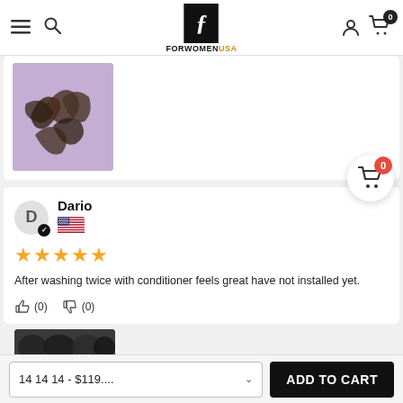FORWOMENUSA
[Figure (photo): Partial review photo showing hair product on purple/lilac background]
Dario
[Figure (illustration): US flag icon next to reviewer name]
★★★★★
After washing twice with conditioner feels great have not installed yet.
👍 (0)  👎 (0)
[Figure (photo): Partial review photo showing dark hair extensions at bottom of page]
14 14 14 - $119.... ∨
ADD TO CART